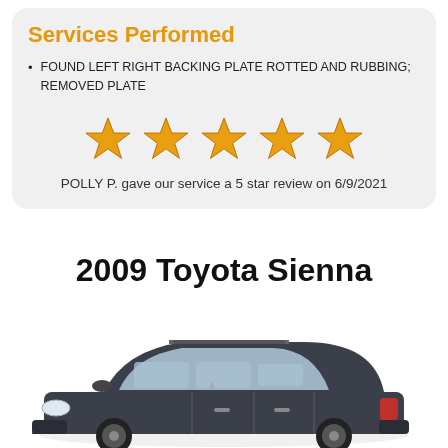Services Performed
FOUND LEFT RIGHT BACKING PLATE ROTTED AND RUBBING; REMOVED PLATE
[Figure (infographic): Five gold/yellow star rating icons displayed in a row]
POLLY P. gave our service a 5 star review on 6/9/2021
2009 Toyota Sienna
[Figure (photo): Photo of a dark blue/grey 2009 Toyota Sienna minivan, front three-quarter view]